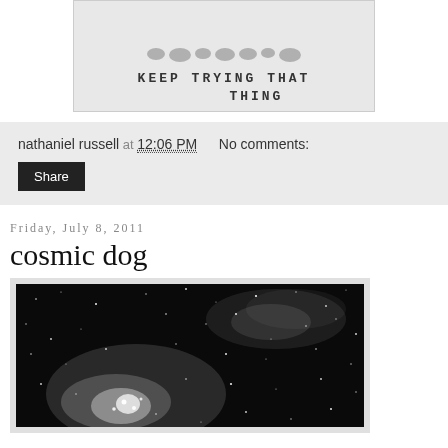[Figure (photo): Black and white photo with handwritten text 'KEEP TRYING THAT THING' and blob shapes above it]
nathaniel russell at 12:06 PM   No comments:
Share
Friday, July 8, 2011
cosmic dog
[Figure (photo): Black and white astronomical photograph showing stars and nebula (cosmic dog)]